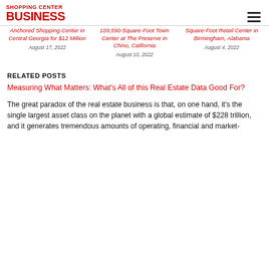SHOPPING CENTER BUSINESS
Anchored Shopping Center in Central Georgia for $12 Million
August 17, 2022
109,590-Square-Foot Town Center at The Preserve in Chino, California
August 10, 2022
Square-Foot Retail Center in Birmingham, Alabama
August 4, 2022
RELATED POSTS
Measuring What Matters: What's All of this Real Estate Data Good For?
The great paradox of the real estate business is that, on one hand, it's the single largest asset class on the planet with a global estimate of $228 trillion, and it generates tremendous amounts of operating, financial and market-